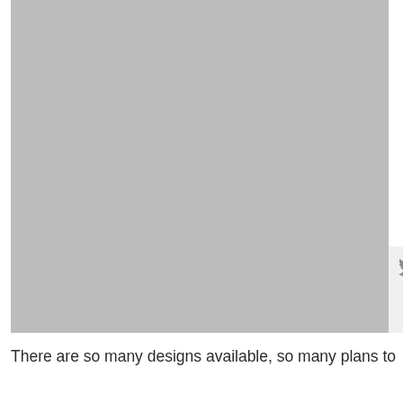[Figure (photo): Large gray placeholder image occupying most of the upper portion of the page]
There are so many designs available, so many plans to